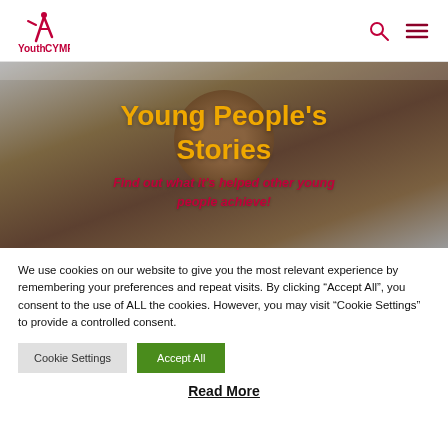Youth CYMRU — navigation header with logo, search icon, and menu icon
[Figure (photo): Hero banner with blurred photo of a young person, overlaid with bold golden text 'Young People's Stories' and red italic subtitle 'Find out what it's helped other young people achieve!']
Young People's Stories
Find out what it's helped other young people achieve!
We use cookies on our website to give you the most relevant experience by remembering your preferences and repeat visits. By clicking "Accept All", you consent to the use of ALL the cookies. However, you may visit "Cookie Settings" to provide a controlled consent.
Cookie Settings   Accept All
Read More